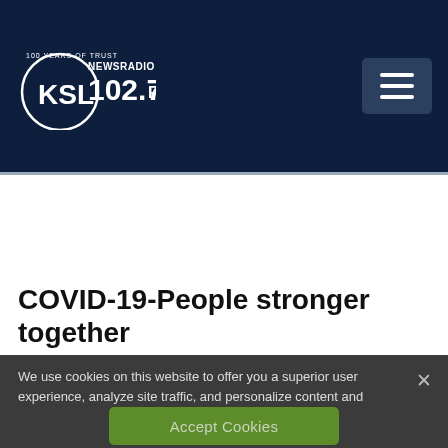KSL NewsRadio 102.7FM — 100 Years of Trust
COVID-19-People stronger together
We use cookies on this website to offer you a superior user experience, analyze site traffic, and personalize content and advertisements. By continuing to use our site, you consent to our use of cookies. Please visit our Privacy Policy for more information.
Accept Cookies